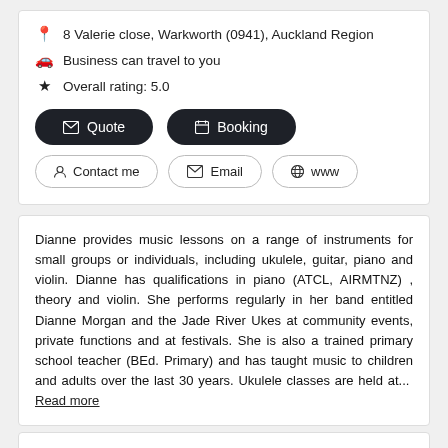8 Valerie close, Warkworth (0941), Auckland Region
Business can travel to you
Overall rating: 5.0
Quote | Booking | Contact me | Email | www
Dianne provides music lessons on a range of instruments for small groups or individuals, including ukulele, guitar, piano and violin. Dianne has qualifications in piano (ATCL, AIRMTNZ) , theory and violin. She performs regularly in her band entitled Dianne Morgan and the Jade River Ukes at community events, private functions and at festivals. She is also a trained primary school teacher (BEd. Primary) and has taught music to children and adults over the last 30 years. Ukulele classes are held at... Read more
Hannah Hales Music Teacher
Performing Arts > Violin Classes & Lessons